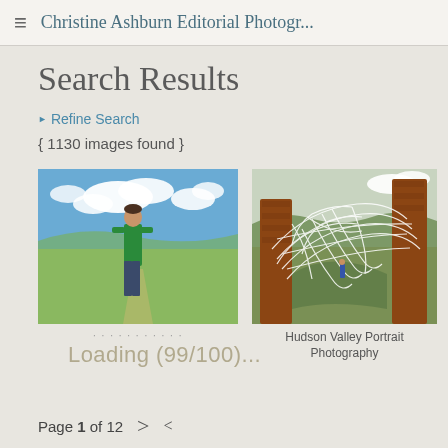≡  Christine Ashburn Editorial Photogr...
Search Results
▶ Refine Search
{ 1130 images found }
[Figure (photo): Man in green t-shirt standing in a green field with blue sky and clouds — Hudson Valley Portrait Photography]
Hudson Valley Portrait Photography (partial, obscured)
[Figure (photo): Outdoor metal sculpture installation with rusty brick columns and white wire framework, person visible in background — Hudson Valley Portrait Photography]
Hudson Valley Portrait Photography
Loading (99/100)...
Page 1 of 12  >  <